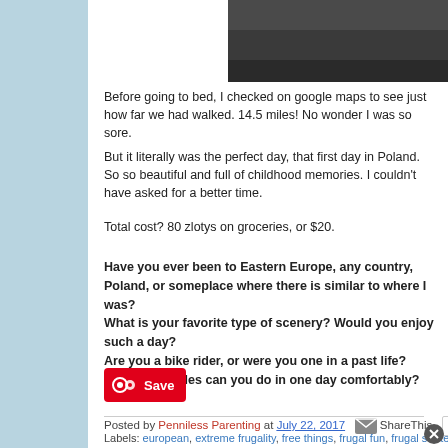[Figure (photo): Dark photo strip at top right of page]
Before going to bed, I checked on google maps to see just how far we had walked. 14.5 miles! No wonder I was so sore.
But it literally was the perfect day, that first day in Poland. So so beautiful and full of childhood memories. I couldn't have asked for a better time.
Total cost? 80 zlotys on groceries, or $20.
Have you ever been to Eastern Europe, any country, Poland, or someplace where there is similar to where I was?
What is your favorite type of scenery? Would you enjoy such a day?
Are you a bike rider, or were you one in a past life? How many miles can you do in one day comfortably?
[Figure (other): Pinterest Save button]
Posted by Penniless Parenting at July 22, 2017  ShareThis
Labels: european, extreme frugality, free things, frugal fun, frugal strategies